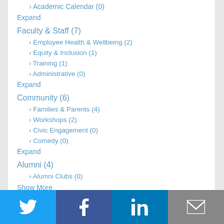› Academic Calendar (0)
Expand
Faculty & Staff (7)
› Employee Health & Wellbeing (2)
› Equity & Inclusion (1)
› Training (1)
› Administrative (0)
Expand
Community (6)
› Families & Parents (4)
› Workshops (2)
› Civic Engagement (0)
› Comedy (0)
Expand
Alumni (4)
› Alumni Clubs (0)
Show More
CUSTOM FEED
[Figure (infographic): Social media icon bar at bottom: Twitter (blue), Facebook (dark blue), LinkedIn (blue), Email (gray)]